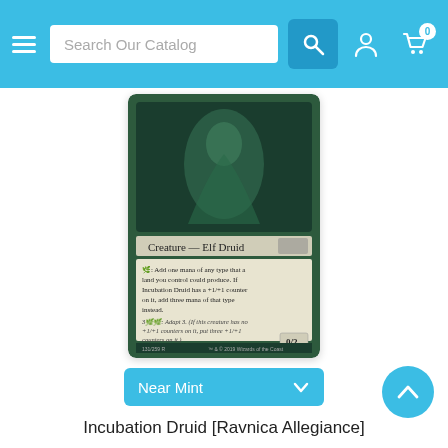Search Our Catalog
[Figure (photo): Magic: The Gathering card - Incubation Druid from Ravnica Allegiance. A Creature - Elf Druid card showing card text about adding mana and Adapt 3 ability. Power/Toughness 0/2.]
Near Mint
Incubation Druid [Ravnica Allegiance]
$1.00